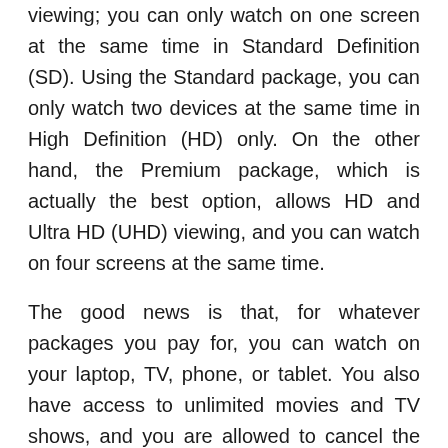viewing; you can only watch on one screen at the same time in Standard Definition (SD). Using the Standard package, you can only watch two devices at the same time in High Definition (HD) only. On the other hand, the Premium package, which is actually the best option, allows HD and Ultra HD (UHD) viewing, and you can watch on four screens at the same time.
The good news is that, for whatever packages you pay for, you can watch on your laptop, TV, phone, or tablet. You also have access to unlimited movies and TV shows, and you are allowed to cancel the packages anytime.
Is Netflix South Africa worth it?